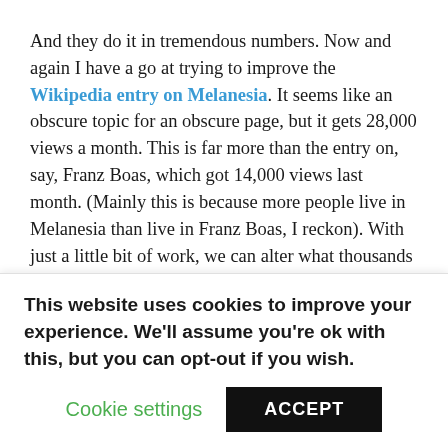And they do it in tremendous numbers. Now and again I have a go at trying to improve the Wikipedia entry on Melanesia. It seems like an obscure topic for an obscure page, but it gets 28,000 views a month. This is far more than the entry on, say, Franz Boas, which got 14,000 views last month. (Mainly this is because more people live in Melanesia than live in Franz Boas, I reckon). With just a little bit of work, we can alter what thousands of people know about the topics we study.
Amazon reviews have the same features as Wikipedia entries: people pull information from the site, rather than
This website uses cookies to improve your experience. We'll assume you're ok with this, but you can opt-out if you wish.
Cookie settings
ACCEPT